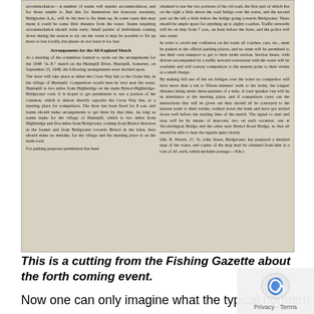[Figure (photo): Newspaper clipping from the Fishing Gazette about arrangements for the 1948 All-England Match on the Huntspill River, Somerset, on September 25, 1948. Two-column layout with text discussing accommodation, draw logistics, parking, traffic stewards, bridges, and a map prepared by Mr. R. Perrett.]
This is a cutting from the Fishing Gazette about the forth coming event.
Now one can only imagine what the typical northern match angler would of said on hearing about the venue